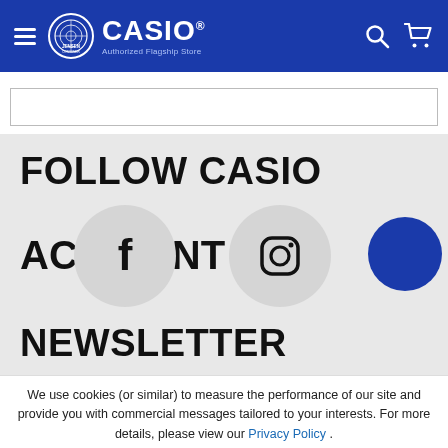[Figure (screenshot): Casio authorized flagship store navigation header with hamburger menu, Jensen Consumer logo circle, CASIO wordmark, search icon, and cart icon on blue background]
[Figure (screenshot): Search input bar with border]
FOLLOW CASIO
[Figure (infographic): Social media icons row showing Facebook 'f' icon in grey circle and Instagram icon in grey circle, with text 'AC' and 'NT' on either side, and a blue circle on the right]
NEWSLETTER
We use cookies (or similar) to measure the performance of our site and provide you with commercial messages tailored to your interests. For more details, please view our Privacy Policy .